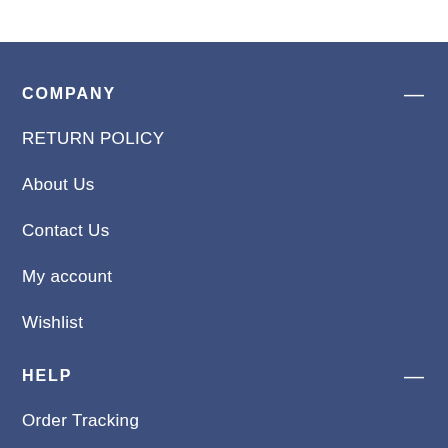COMPANY
RETURN POLICY
About Us
Contact Us
My account
Wishlist
HELP
Order Tracking